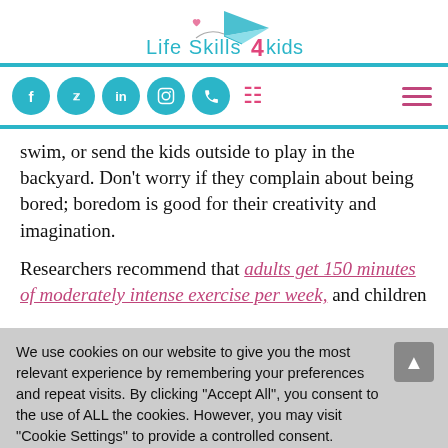[Figure (logo): Life Skills 4 Kids logo with paper airplane and heart, teal and pink text]
[Figure (infographic): Navigation bar with teal social media icon circles (f, Twitter, in, Instagram, phone), pink cart icon, and pink hamburger menu]
swim, or send the kids outside to play in the backyard. Don't worry if they complain about being bored; boredom is good for their creativity and imagination.
Researchers recommend that adults get 150 minutes of moderately intense exercise per week, and children
We use cookies on our website to give you the most relevant experience by remembering your preferences and repeat visits. By clicking "Accept All", you consent to the use of ALL the cookies. However, you may visit "Cookie Settings" to provide a controlled consent.
Cookie Settings | Accept All
Share This